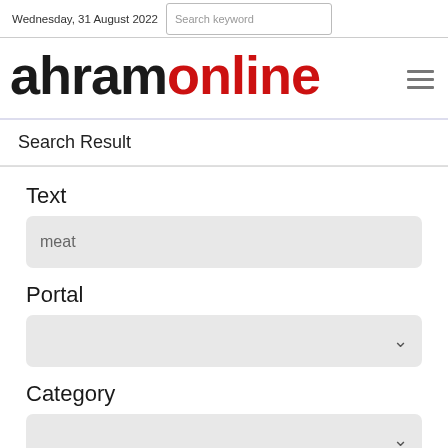Wednesday, 31 August 2022  Search keyword
[Figure (logo): Ahram Online logo — 'ahram' in black bold and 'online' in red bold, with hamburger menu icon on the right]
Search Result
Text
meat
Portal
Category